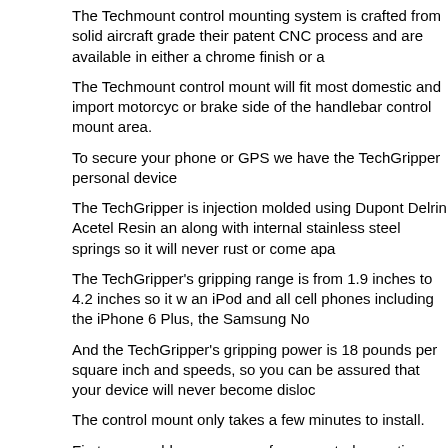The Techmount control mounting system is crafted from solid aircraft gra... their patent CNC process and are available in either a chrome finish or a...
The Techmount control mount will fit most domestic and import motorcy... or brake side of the handlebar control mount area.
To secure your phone or GPS we have the TechGripper personal device...
The TechGripper is injection molded using Dupont Delrin Acetel Resin a... along with internal stainless steel springs so it will never rust or come apa...
The TechGripper's gripping range is from 1.9 inches to 4.2 inches so it w... an iPod and all cell phones including the iPhone 6 Plus, the Samsung No...
And the TechGripper's gripping power is 18 pounds per square inch and... speeds, so you can be assured that your device will never become dislo...
The control mount only takes a few minutes to install.
First you would remove one of your control mounting screws and then at... mount and replace the screw with one of ours.
You would then remove your other screw, replace it and tighten both scre...
The Techmount system shaft has a 17mm ball that interfaces with the va... cradles that includes their GoPro camera interface, radar detector top pla...